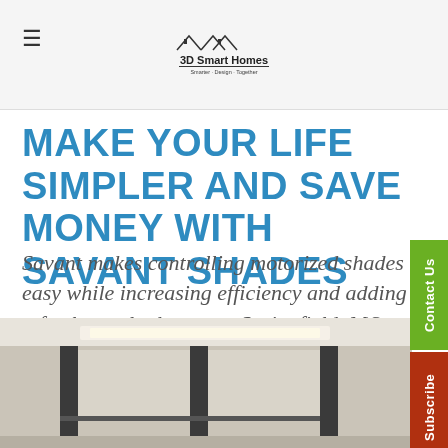3D Smart Homes logo and navigation
MAKE YOUR LIFE SIMPLER AND SAVE MONEY WITH SAVANT SHADES
Savant makes controlling motorized shades easy while increasing efficiency and adding a fresh new look to your Springfield, MO, home.
[Figure (screenshot): Blue Tweet button with Twitter bird icon]
[Figure (photo): Interior room photo showing motorized window shades in a modern room with ceiling lights and dark window panels]
[Figure (other): Green Contact Us vertical side tab]
[Figure (other): Red Subscribe vertical side tab]